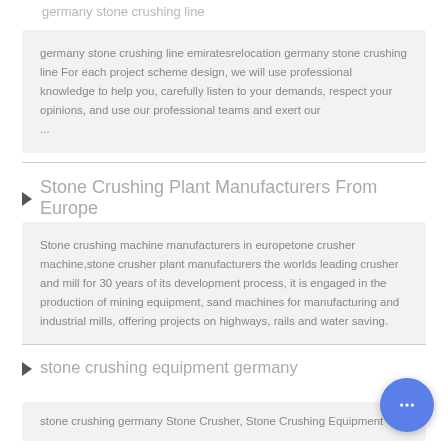germany stone crushing line
germany stone crushing line emiratesrelocation germany stone crushing line For each project scheme design, we will use professional knowledge to help you, carefully listen to your demands, respect your opinions, and use our professional teams and exert our ...
Stone Crushing Plant Manufacturers From Europe
Stone crushing machine manufacturers in europetone crusher machine,stone crusher plant manufacturers the worlds leading crusher and mill for 30 years of its development process, it is engaged in the production of mining equipment, sand machines for manufacturing and industrial mills, offering projects on highways, rails and water saving.
stone crushing equipment germany
stone crushing germany Stone Crusher, Stone Crushing Equipment